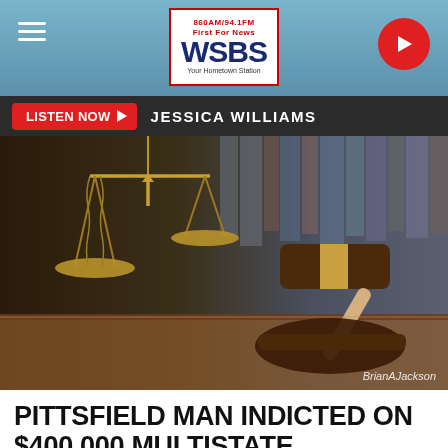WSBS 860AM/94.1FM — First For News — Your Hometown Station
LISTEN NOW ▶   JESSICA WILLIAMS
[Figure (photo): Stock photo of a brass justice scale hanging and a wooden judge's gavel on a desk with law books in background. Photo credit: BrianAJackson]
PITTSFIELD MAN INDICTED ON $400,000 MULTISTATE